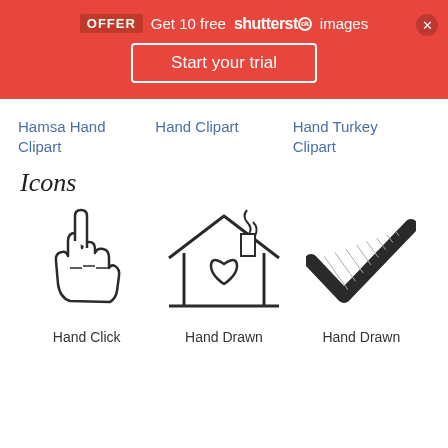[Figure (screenshot): Red Shutterstock promotional banner with OFFER badge, 'Get 10 free shutterstock images' text, and 'Start your trial' button]
Hamsa Hand Clipart
Hand Clipart
Hand Turkey Clipart
Icons
[Figure (illustration): Hand click pointer icon - outline drawing of hand with index finger pointing up]
[Figure (illustration): Hand drawn house icon with heart symbol and chimney smoke]
[Figure (illustration): Hand drawn checkmark/tick icon with hatching lines]
Hand Click
Hand Drawn
Hand Drawn